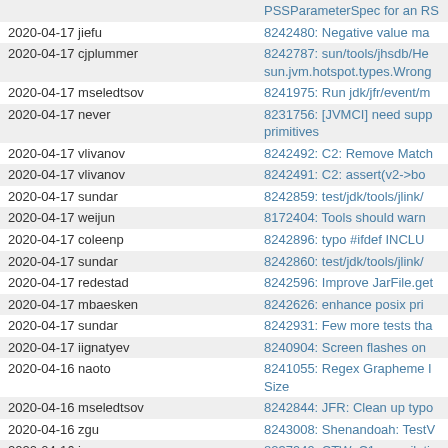| Date Author | Description |
| --- | --- |
|  | PSSParameterSpec for an RS |
| 2020-04-17 jiefu | 8242480: Negative value ma |
| 2020-04-17 cjplummer | 8242787: sun/tools/jhsdb/He sun.jvm.hotspot.types.Wrong |
| 2020-04-17 mseledtsov | 8241975: Run jdk/jfr/event/m |
| 2020-04-17 never | 8231756: [JVMCI] need supp primitives |
| 2020-04-17 vlivanov | 8242492: C2: Remove Match |
| 2020-04-17 vlivanov | 8242491: C2: assert(v2->bo |
| 2020-04-17 sundar | 8242859: test/jdk/tools/jlink/ |
| 2020-04-17 weijun | 8172404: Tools should warn |
| 2020-04-17 coleenp | 8242896: typo #ifdef INCLU |
| 2020-04-17 sundar | 8242860: test/jdk/tools/jlink/ |
| 2020-04-17 redestad | 8242596: Improve JarFile.get |
| 2020-04-17 mbaesken | 8242626: enhance posix pri |
| 2020-04-17 sundar | 8242931: Few more tests tha |
| 2020-04-17 iignatyev | 8240904: Screen flashes on |
| 2020-04-16 naoto | 8241055: Regex Grapheme I Size |
| 2020-04-16 mseledtsov | 8242844: JFR: Clean up typo |
| 2020-04-16 zgu | 8243008: Shenandoah: TestV |
| 2020-04-16 jcm | 8237949: CTW: C1 compilati |
| 2020-04-16 asemenyuk | 8232935: jpackage failed wit |
| 2020-04-16 cjplummer | 8230731: SA tests fail with " |
| 2020-04-16 mullan | 8242565: Policy initialization |
| 2020-04-16 ihse | 8242808: Fix all remaining d |
| 2020-04-16 ihse | 8242804: Fix trivial deprecat |